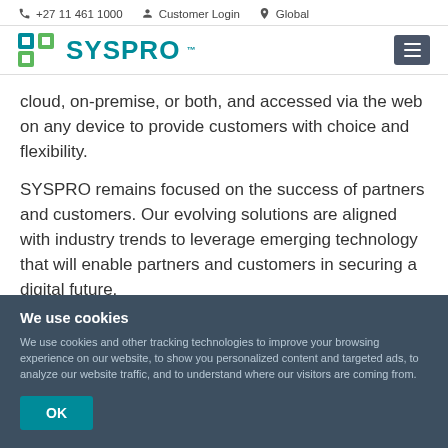+27 11 461 1000  Customer Login  Global
[Figure (logo): SYSPRO logo with teal square icon and SYSPRO wordmark]
cloud, on-premise, or both, and accessed via the web on any device to provide customers with choice and flexibility.
SYSPRO remains focused on the success of partners and customers. Our evolving solutions are aligned with industry trends to leverage emerging technology that will enable partners and customers in securing a digital future.
We use cookies
We use cookies and other tracking technologies to improve your browsing experience on our website, to show you personalized content and targeted ads, to analyze our website traffic, and to understand where our visitors are coming from.